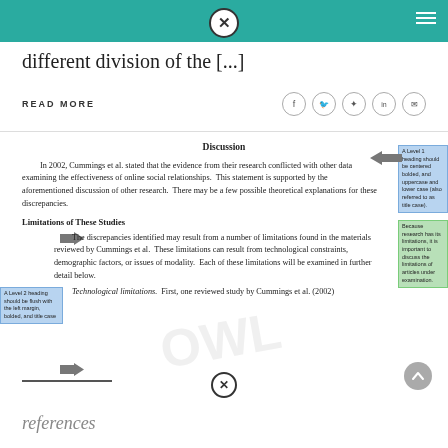different division of the [...]
READ MORE
Discussion
In 2002, Cummings et al. stated that the evidence from their research conflicted with other data examining the effectiveness of online social relationships. This statement is supported by the aforementioned discussion of other research. There may be a few possible theoretical explanations for these discrepancies.
Limitations of These Studies
The discrepancies identified may result from a number of limitations found in the materials reviewed by Cummings et al. These limitations can result from technological constraints, demographic factors, or issues of modality. Each of these limitations will be examined in further detail below.
Technological limitations. First, one reviewed study by Cummings et al. (2002)
references